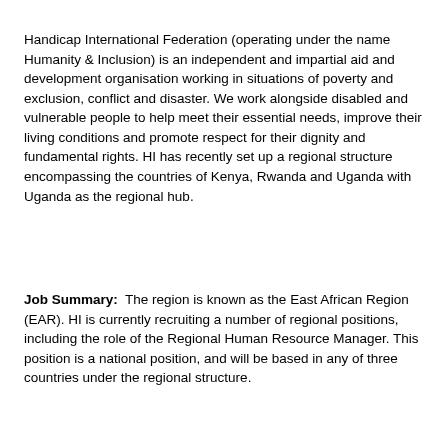Handicap International Federation (operating under the name Humanity & Inclusion) is an independent and impartial aid and development organisation working in situations of poverty and exclusion, conflict and disaster. We work alongside disabled and vulnerable people to help meet their essential needs, improve their living conditions and promote respect for their dignity and fundamental rights. HI has recently set up a regional structure encompassing the countries of Kenya, Rwanda and Uganda with Uganda as the regional hub.
Job Summary: The region is known as the East African Region (EAR). HI is currently recruiting a number of regional positions, including the role of the Regional Human Resource Manager. This position is a national position, and will be based in any of three countries under the regional structure.